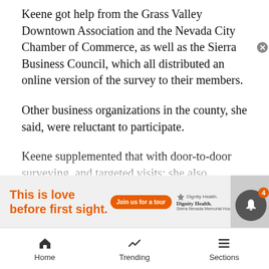Keene got help from the Grass Valley Downtown Association and the Nevada City Chamber of Commerce, as well as the Sierra Business Council, which all distributed an online version of the survey to their members.
Other business organizations in the county, she said, were reluctant to participate.
Keene supplemented that with door-to-door surveying, and targeted visits; she also conducted anonymous cultivator surveys, and got help from the medical marijuana community through Americans for Safe Access-Nevada County.
Keene ended up with 75 complete surveys, which sh… ackno… open to inte…
[Figure (screenshot): Dignity Health advertisement banner: orange text 'This is love before first sight.' with 'Join us for a tour' orange button and Dignity Health Sierra Nevada Memorial Hospital logo, with a person sitting at right.]
Home   Trending   Sections